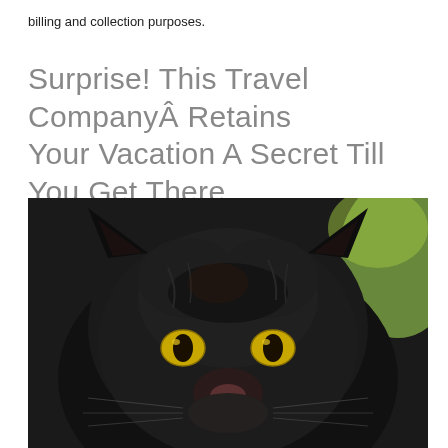billing and collection purposes.
Surprise! This Travel CompanyÂ Retains Your Vacation A Secret Till You Get There
[Figure (photo): Close-up photograph of a black panther (melanistic leopard or jaguar) with striking yellow-green eyes, facing the camera directly. Dark black fur covers the face. A blurred green background is visible in the upper right corner.]